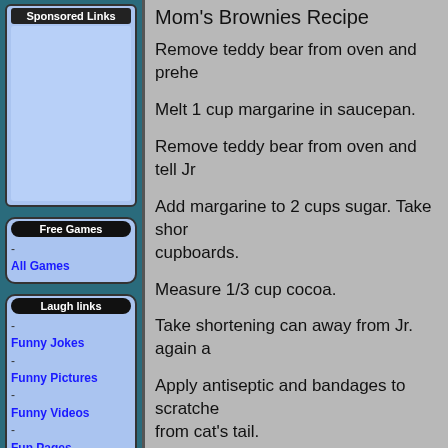Sponsored Links
Free Games
- All Games
Laugh links
- Funny Jokes
- Funny Pictures
- Funny Videos
- Fun Pages
- Joke of the Day
- What's New?
- Random Jokes
- Funny Cartoons
- Funny Forwards
- Funny Links
- Make Us Laugh!
Mom's Brownies Recipe
Remove teddy bear from oven and prehe...
Melt 1 cup margarine in saucepan.
Remove teddy bear from oven and tell Jr ...
Add margarine to 2 cups sugar. Take shor... cupboards.
Measure 1/3 cup cocoa.
Take shortening can away from Jr. again a...
Apply antiseptic and bandages to scratche... from cat's tail.